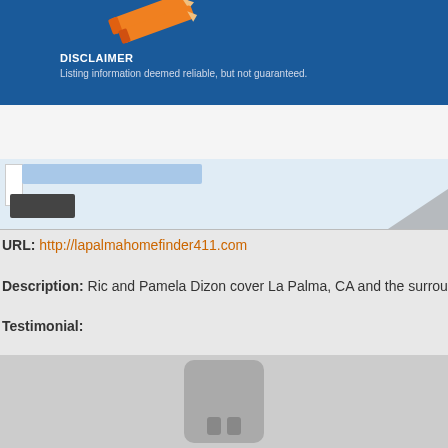[Figure (screenshot): Blue banner with pencil illustration at top]
DISCLAIMER
Listing information deemed reliable, but not guaranteed.
[Figure (screenshot): Website preview thumbnail showing La Palma home finder website with blue header and dark navigation bar]
URL: http://lapalmahomefinder411.com
Description: Ric and Pamela Dizon cover La Palma, CA and the surrou
Testimonial:
[Figure (photo): Placeholder image with rounded rectangle icon showing two bar shapes at bottom center]